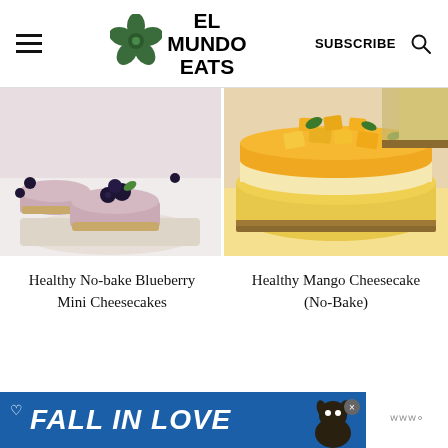EL MUNDO EATS | SUBSCRIBE
[Figure (photo): Mini no-bake blueberry cheesecakes topped with fresh blueberries and mint leaves on a white wooden board]
[Figure (photo): Healthy mango cheesecake (no-bake) topped with diced mango and mint leaves, sliced on parchment paper]
Healthy No-bake Blueberry Mini Cheesecakes
Healthy Mango Cheesecake (No-Bake)
[Figure (other): Advertisement banner reading FALL IN LOVE with a dog image]